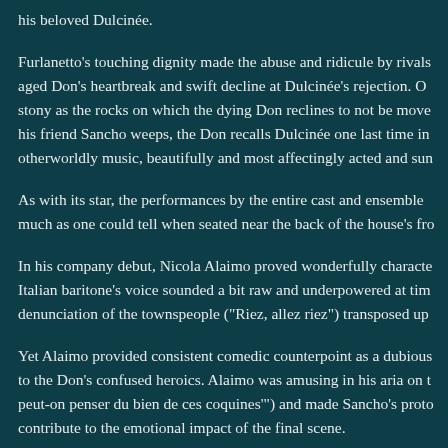his beloved Dulcinée.
Furlanetto's touching dignity made the abuse and ridicule by rivals aged Don's heartbreak and swift decline at Dulcinée's rejection. On stony as the rocks on which the dying Don reclines to not be moved his friend Sancho weeps, the Don recalls Dulcinée one last time in otherworldly music, beautifully and most affectingly acted and sun
As with its star, the performances by the entire cast and ensemble w much as one could tell when seated near the back of the house's fro
In his company debut, Nicola Alaimo proved wonderfully characte Italian baritone's voice sounded a bit raw and underpowered at tim denunciation of the townspeople ("Riez, allez riez") transposed up
Yet Alaimo provided consistent comedic counterpoint as a dubious to the Don's confused heroics. Alaimo was amusing in his aria on t peut-on penser du bien de ces coquines'") and made Sancho's proto contribute to the emotional impact of the final scene.